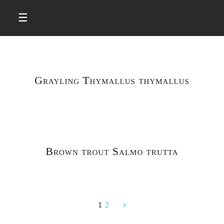≡
Grayling Thymallus thymallus
Brown trout Salmo trutta
1  2  >